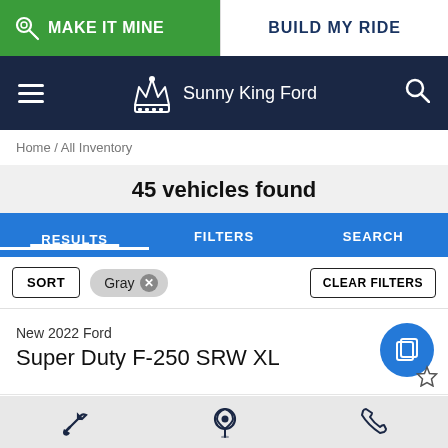MAKE IT MINE | BUILD MY RIDE
Sunny King Ford
Home / All Inventory
45 vehicles found
RESULTS | FILTERS | SEARCH
SORT  Gray ×  CLEAR FILTERS
New 2022 Ford Super Duty F-250 SRW XL